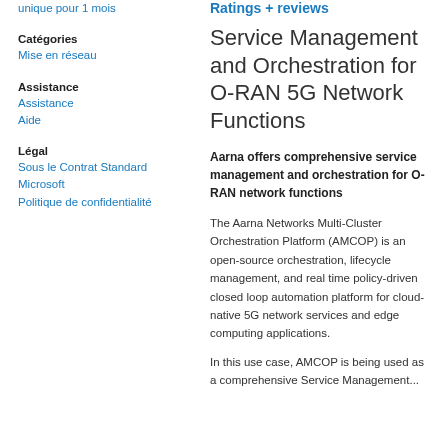unique pour 1 mois
Catégories
Mise en réseau
Assistance
Assistance
Aide
Légal
Sous le Contrat Standard Microsoft
Politique de confidentialité
Ratings + reviews
Service Management and Orchestration for O-RAN 5G Network Functions
Aarna offers comprehensive service management and orchestration for O-RAN network functions
The Aarna Networks Multi-Cluster Orchestration Platform (AMCOP) is an open-source orchestration, lifecycle management, and real time policy-driven closed loop automation platform for cloud-native 5G network services and edge computing applications.
In this use case, AMCOP is being used as a comprehensive Service Management...